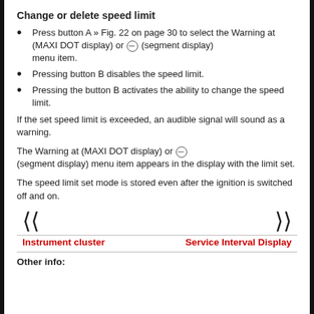Change or delete speed limit
Press button A » Fig. 22 on page 30 to select the Warning at (MAXI DOT display) or ⊖ (segment display) menu item.
Pressing button B disables the speed limit.
Pressing the button B activates the ability to change the speed limit.
If the set speed limit is exceeded, an audible signal will sound as a warning.
The Warning at (MAXI DOT display) or ⊖ (segment display) menu item appears in the display with the limit set.
The speed limit set mode is stored even after the ignition is switched off and on.
[Figure (other): Navigation arrows: left double chevron and right double chevron]
Instrument cluster
Service Interval Display
Other info: